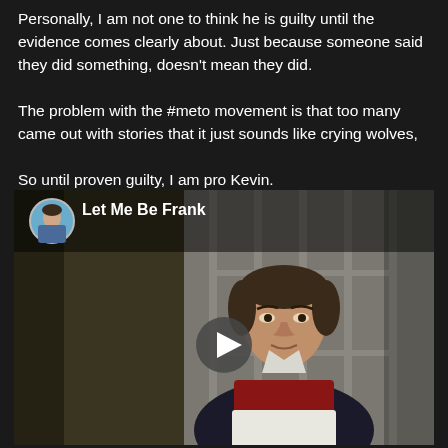Personally, I am not one to think he is guilty until the evidence comes clearly about. Just because someone said they did something, doesn't mean they did.

The problem with the #meto movement is that too many came out with stories that it just sounds like crying wolves,

So until proven guilty, I am pro Kevin.
[Figure (screenshot): Video thumbnail for 'Let Me Be Frank' showing a man in a dark apron in a dramatic scene, with a circular avatar image of a man in blue shirt and a play button overlay]